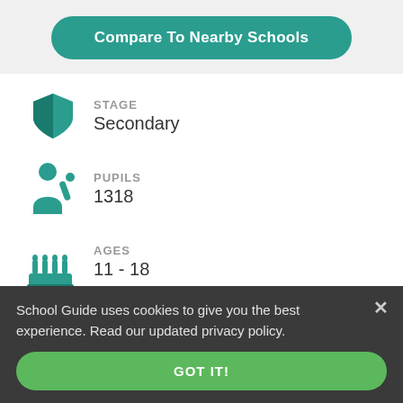Compare To Nearby Schools
STAGE
Secondary
PUPILS
1318
AGES
11 - 18
GENDER
Mixed
School Guide uses cookies to give you the best experience. Read our updated privacy policy.
GOT IT!